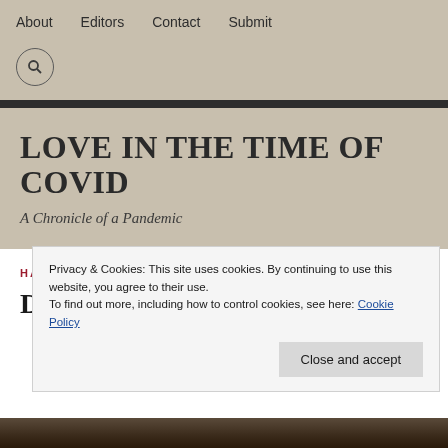About  Editors  Contact  Submit
LOVE IN THE TIME OF COVID
A Chronicle of a Pandemic
HAIBUN
Departures & Arrivals: haibun
Privacy & Cookies: This site uses cookies. By continuing to use this website, you agree to their use.
To find out more, including how to control cookies, see here: Cookie Policy
Close and accept